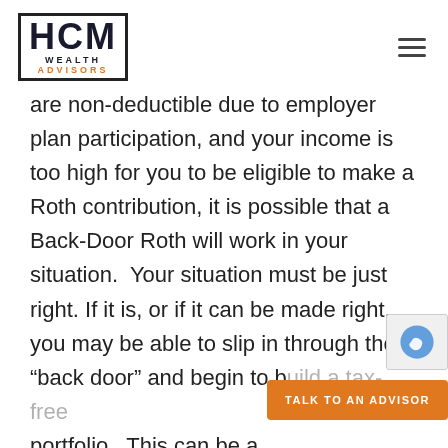HCM WEALTH ADVISORS
are non-deductible due to employer plan participation, and your income is too high for you to be eligible to make a Roth contribution, it is possible that a Back-Door Roth will work in your situation.  Your situation must be just right. If it is, or if it can be made right, you may be able to slip in through the “back door” and begin to b[uild a tax-free] portfolio.  This can be a